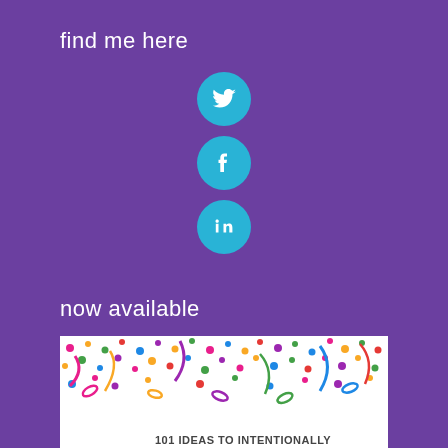find me here
[Figure (infographic): Three social media icon circles (Twitter, Facebook, LinkedIn) in cyan/teal color on purple background]
now available
[Figure (illustration): Book cover with colorful confetti and streamers on white background. Text reads: '101 IDEAS TO INTENTIONALLY CONNECT WITH YOUR GRANDS' and 'CELEBRATE' in green letters at the bottom.]